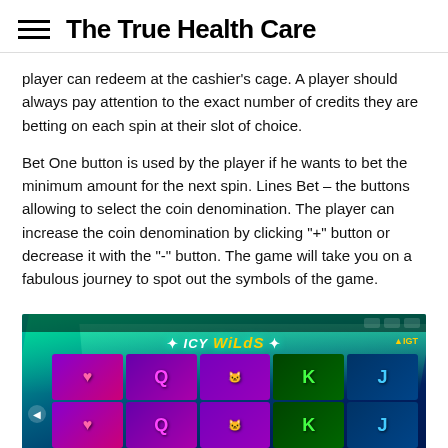The True Health Care
player can redeem at the cashier's cage. A player should always pay attention to the exact number of credits they are betting on each spin at their slot of choice.
Bet One button is used by the player if he wants to bet the minimum amount for the next spin. Lines Bet – the buttons allowing to select the coin denomination. The player can increase the coin denomination by clicking "+" button or decrease it with the "-" button. The game will take you on a fabulous journey to spot out the symbols of the game.
[Figure (screenshot): Screenshot of the Icy Wilds slot game by IGT showing a 5-reel slot machine with heart, Q, cat, K, and J symbols on a blue/green aurora borealis background.]